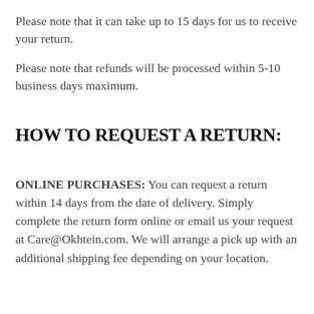Please note that it can take up to 15 days for us to receive your return.
Please note that refunds will be processed within 5-10 business days maximum.
HOW TO REQUEST A RETURN:
ONLINE PURCHASES: You can request a return within 14 days from the date of delivery. Simply complete the return form online or email us your request at Care@Okhtein.com. We will arrange a pick up with an additional shipping fee depending on your location.